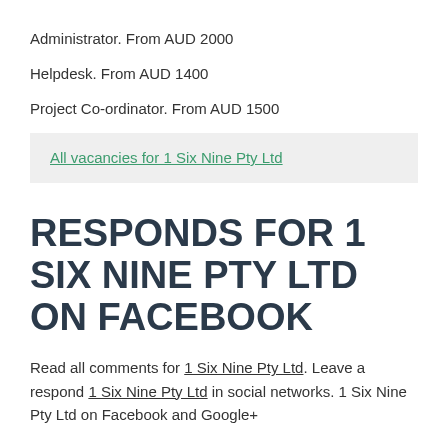Administrator. From AUD 2000
Helpdesk. From AUD 1400
Project Co-ordinator. From AUD 1500
All vacancies for 1 Six Nine Pty Ltd
RESPONDS FOR 1 SIX NINE PTY LTD ON FACEBOOK
Read all comments for 1 Six Nine Pty Ltd. Leave a respond 1 Six Nine Pty Ltd in social networks. 1 Six Nine Pty Ltd on Facebook and Google+